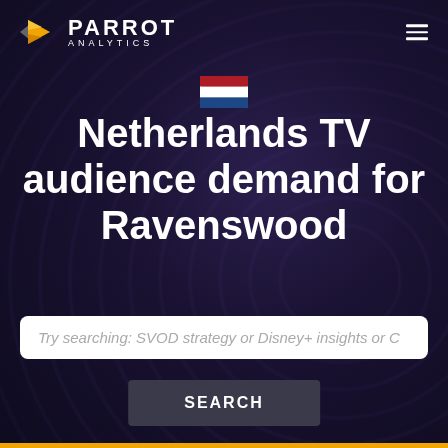PARROT ANALYTICS
[Figure (logo): Parrot Analytics logo with yellow/orange triangular bird icon and hamburger menu icon on the right]
[Figure (illustration): Netherlands flag emoji]
Netherlands TV audience demand for Ravenswood
Try searching: SVOD strategy or Disney+ insights or C
SEARCH